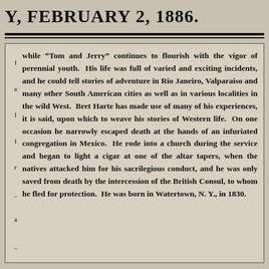Y, FEBRUARY 2, 1886.
while "Tom and Jerry" continues to flourish with the vigor of perennial youth. His life was full of varied and exciting incidents, and he could tell stories of adventure in Rio Janeiro, Valparaiso and many other South American cities as well as in various localities in the wild West. Bret Harte has made use of many of his experiences, it is said, upon which to weave his stories of Western life. On one occasion he narrowly escaped death at the hands of an infuriated congregation in Mexico. He rode into a church during the service and began to light a cigar at one of the altar tapers, when the natives attacked him for his sacrilegious conduct, and he was only saved from death by the intercession of the British Consul, to whom he fled for protection. He was born in Watertown, N. Y., in 1830.